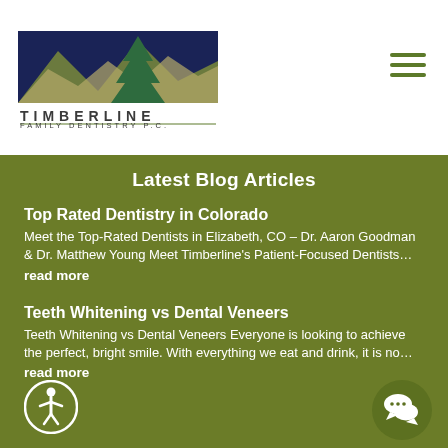[Figure (logo): Timberline Family Dentistry P.C. logo with mountain and pine tree graphic in blue, dark navy, and olive green. Text reads TIMBERLINE FAMILY DENTISTRY P.C.]
[Figure (other): Hamburger menu icon with three olive green horizontal lines]
Latest Blog Articles
Top Rated Dentistry in Colorado
Meet the Top-Rated Dentists in Elizabeth, CO – Dr. Aaron Goodman & Dr. Matthew Young Meet Timberline's Patient-Focused Dentists…
read more
Teeth Whitening vs Dental Veneers
Teeth Whitening vs Dental Veneers Everyone is looking to achieve the perfect, bright smile. With everything we eat and drink, it is no…
read more
[Figure (other): Accessibility icon: circle with person figure, dark olive green border]
[Figure (other): Chat/speech bubble icon in olive green circle with ellipsis dots]